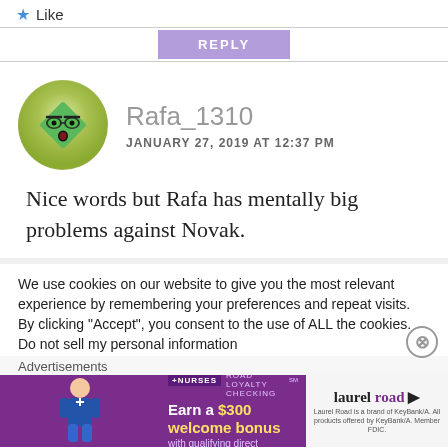★ Like
REPLY
[Figure (illustration): Circular avatar with a green diamond-shaped cartoon face wearing glasses with a surprised expression, on a light green circular background]
Rafa_1310
JANUARY 27, 2019 AT 12:37 PM
Nice words but Rafa has mentally big problems against Novak.
We use cookies on our website to give you the most relevant experience by remembering your preferences and repeat visits. By clicking “Accept”, you consent to the use of ALL the cookies.
Do not sell my personal information
Advertisements
[Figure (photo): Advertisement banner: Laurel Road Loyalty Checking for nurses. Purple background with nurse figure. Text: Earn a $300 welcome bonus with qualifying direct deposits. Laurel Road logo on right.]